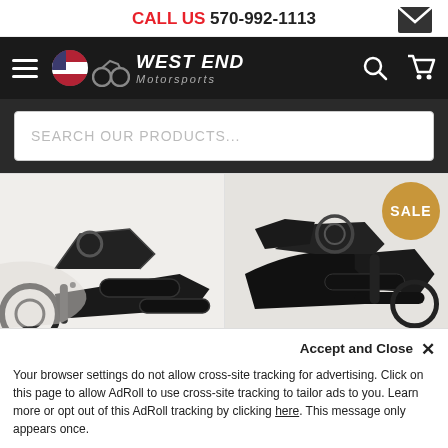CALL US 570-992-1113
[Figure (screenshot): West End Motorsports navigation bar with hamburger menu, logo, search icon, and cart icon on dark background]
[Figure (screenshot): Search bar with placeholder text 'SEARCH OUR PRODUCTS...']
[Figure (photo): Motorcycle exhaust system close-up, black finish, left product card]
[Figure (photo): Motorcycle exhaust system close-up, black finish, right product card with SALE badge]
$649.99
Free Shipping
(0 reviews)
$454.40
Free Shipping
(0 reviews)
Accept and Close ×
Your browser settings do not allow cross-site tracking for advertising. Click on this page to allow AdRoll to use cross-site tracking to tailor ads to you. Learn more or opt out of this AdRoll tracking by clicking here. This message only appears once.